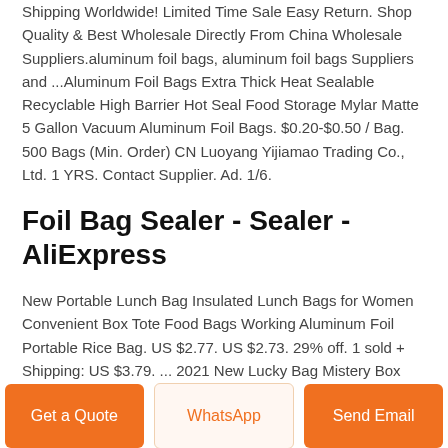Shipping Worldwide! Limited Time Sale Easy Return. Shop Quality & Best Wholesale Directly From China Wholesale Suppliers.aluminum foil bags, aluminum foil bags Suppliers and ...Aluminum Foil Bags Extra Thick Heat Sealable Recyclable High Barrier Hot Seal Food Storage Mylar Matte 5 Gallon Vacuum Aluminum Foil Bags. $0.20-$0.50 / Bag. 500 Bags (Min. Order) CN Luoyang Yijiamao Trading Co., Ltd. 1 YRS. Contact Supplier. Ad. 1/6.
Foil Bag Sealer - Sealer - AliExpress
New Portable Lunch Bag Insulated Lunch Bags for Women Convenient Box Tote Food Bags Working Aluminum Foil Portable Rice Bag. US $2.77. US $2.73. 29% off. 1 sold + Shipping: US $3.79. ... 2021 New Lucky Bag Mistery Box Premium Electronic Product Mystery Box Boutique 1To10 Pcs
Get a Quote
WhatsApp
Send Email